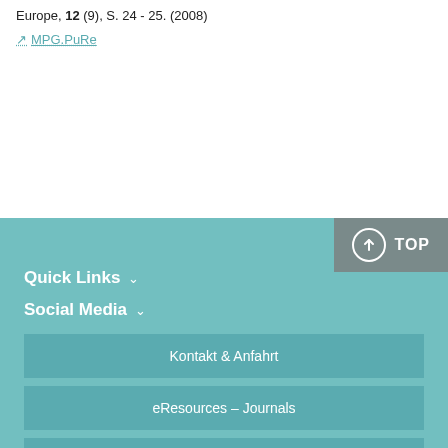Europe, 12 (9), S. 24 - 25. (2008)
MPG.PuRe
Quick Links | Social Media | Kontakt & Anfahrt | eResources – Journals | Helpdesk